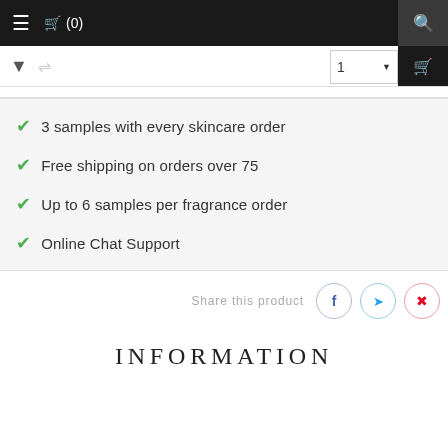≡  🛒 (0)   🔍
3 samples with every skincare order
Free shipping on orders over 75
Up to 6 samples per fragrance order
Online Chat Support
Share this product
INFORMATION